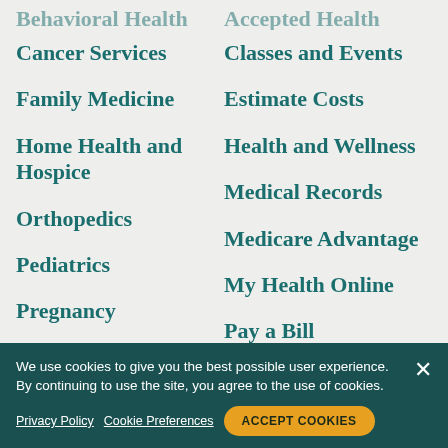Behavioral Health
Accepted Health Plans
Cancer Services
Classes and Events
Family Medicine
Estimate Costs
Home Health and Hospice
Health and Wellness
Medical Records
Orthopedics
Medicare Advantage
Pediatrics
My Health Online
Pregnancy
Pay a Bill
Primary Care
Symptom Checker
We use cookies to give you the best possible user experience. By continuing to use the site, you agree to the use of cookies.
Privacy Policy   Cookie Preferences   ACCEPT COOKIES